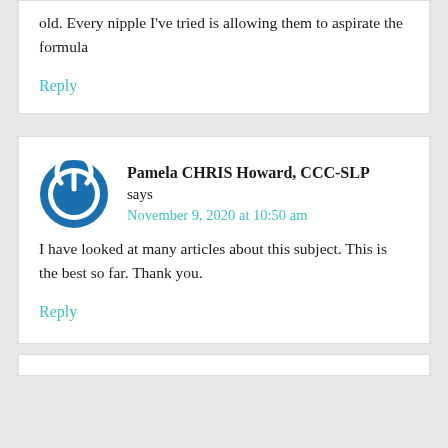old. Every nipple I've tried is allowing them to aspirate the formula
Reply
Pamela CHRIS Howard, CCC-SLP says
November 9, 2020 at 10:50 am
I have looked at many articles about this subject. This is the best so far. Thank you.
Reply